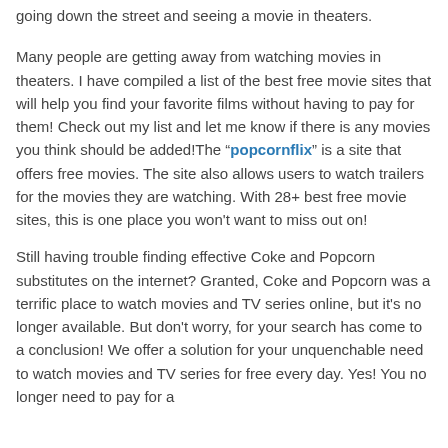going down the street and seeing a movie in theaters.
Many people are getting away from watching movies in theaters. I have compiled a list of the best free movie sites that will help you find your favorite films without having to pay for them! Check out my list and let me know if there is any movies you think should be added!The "popcornflix" is a site that offers free movies. The site also allows users to watch trailers for the movies they are watching. With 28+ best free movie sites, this is one place you won't want to miss out on!
Still having trouble finding effective Coke and Popcorn substitutes on the internet? Granted, Coke and Popcorn was a terrific place to watch movies and TV series online, but it's no longer available. But don't worry, for your search has come to a conclusion! We offer a solution for your unquenchable need to watch movies and TV series for free every day. Yes! You no longer need to pay for a